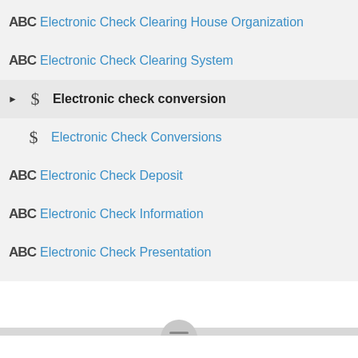Electronic Check Clearing House Organization
Electronic Check Clearing System
Electronic check conversion
Electronic Check Conversions
Electronic Check Deposit
Electronic Check Information
Electronic Check Presentation